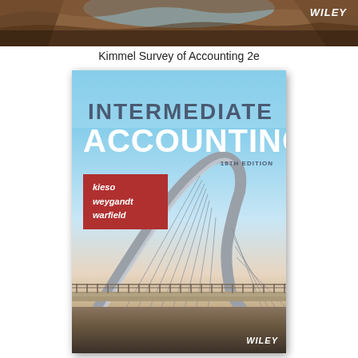[Figure (photo): Header banner photo showing rocky canyon/cave landscape in warm brown tones with Wiley logo in top right]
Kimmel Survey of Accounting 2e
[Figure (photo): Book cover for Intermediate Accounting 18th Edition by Kieso, Weygandt, Warfield (Wiley). Cover shows a cable-stayed bridge arch against a blue sky. Title 'INTERMEDIATE ACCOUNTING' in large text, authors in red box lower left, Wiley logo bottom right.]